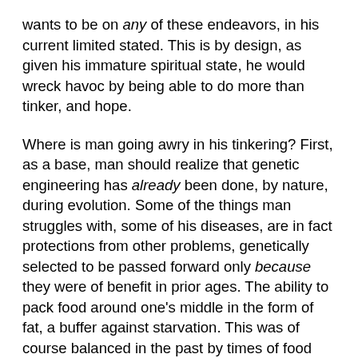wants to be on any of these endeavors, in his current limited stated. This is by design, as given his immature spiritual state, he would wreck havoc by being able to do more than tinker, and hope.
Where is man going awry in his tinkering? First, as a base, man should realize that genetic engineering has already been done, by nature, during evolution. Some of the things man struggles with, some of his diseases, are in fact protections from other problems, genetically selected to be passed forward only because they were of benefit in prior ages. The ability to pack food around one's middle in the form of fat, a buffer against starvation. This was of course balanced in the past by times of food shortage, the fat dropped. Man was not intended to be perpetually pudgy. High cholesterol or high blood pressure is an advantage when one has to fight a tiger or bear with naught but a knife or stone, or run like hell to escape. This was of course balanced in the past by a